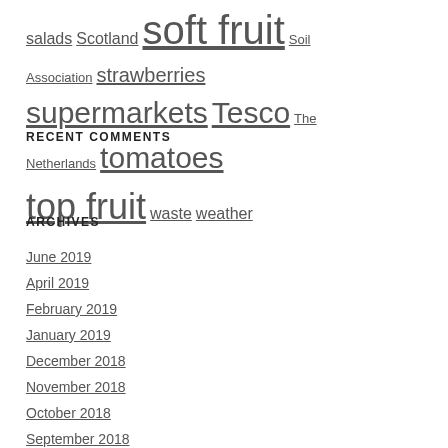salads Scotland soft fruit Soil Association strawberries supermarkets Tesco The Netherlands tomatoes top fruit waste weather
RECENT COMMENTS
ARCHIVES
June 2019
April 2019
February 2019
January 2019
December 2018
November 2018
October 2018
September 2018
August 2018